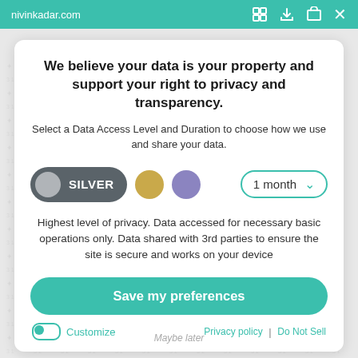nivinkadar.com
We believe your data is your property and support your right to privacy and transparency.
Select a Data Access Level and Duration to choose how we use and share your data.
[Figure (infographic): Data access level selector showing SILVER (selected, dark grey pill button with grey circle), a gold circle option, a purple circle option, and a '1 month' duration dropdown with teal border and chevron arrow.]
Highest level of privacy. Data accessed for necessary basic operations only. Data shared with 3rd parties to ensure the site is secure and works on your device
Save my preferences
Maybe later
Customize
Privacy policy | Do Not Sell